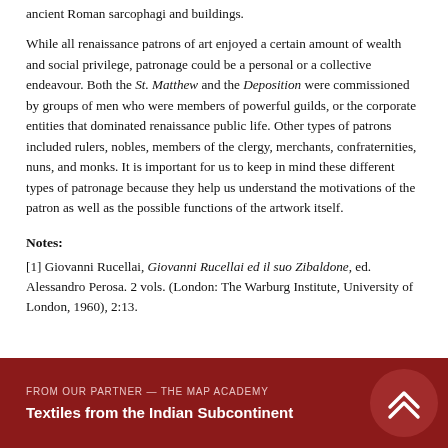ancient Roman sarcophagi and buildings.
While all renaissance patrons of art enjoyed a certain amount of wealth and social privilege, patronage could be a personal or a collective endeavour. Both the St. Matthew and the Deposition were commissioned by groups of men who were members of powerful guilds, or the corporate entities that dominated renaissance public life. Other types of patrons included rulers, nobles, members of the clergy, merchants, confraternities, nuns, and monks. It is important for us to keep in mind these different types of patronage because they help us understand the motivations of the patron as well as the possible functions of the artwork itself.
Notes:
[1] Giovanni Rucellai, Giovanni Rucellai ed il suo Zibaldone, ed. Alessandro Perosa. 2 vols. (London: The Warburg Institute, University of London, 1960), 2:13.
FROM OUR PARTNER—THE MAP ACADEMY
Textiles from the Indian Subcontinent